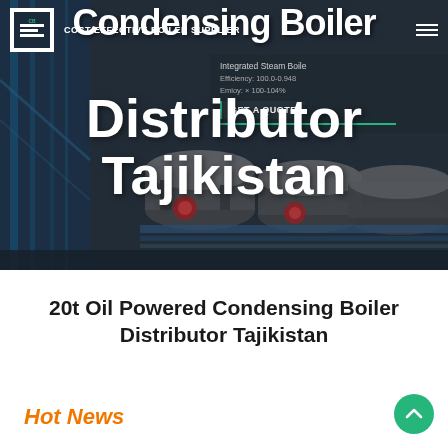[Figure (photo): Hero banner showing industrial condensing boilers in a factory setting with dark blue-grey overlay. Large white text reads 'Condensing Boiler Distributor Tajikistan'. Navigation bar at top with logo, tagline 'COST-EFFECTIVE BOILER SUPPLIER', hamburger menu, and 'GET A QUOTE' button on right panel.]
20t Oil Powered Condensing Boiler Distributor Tajikistan
Hot News